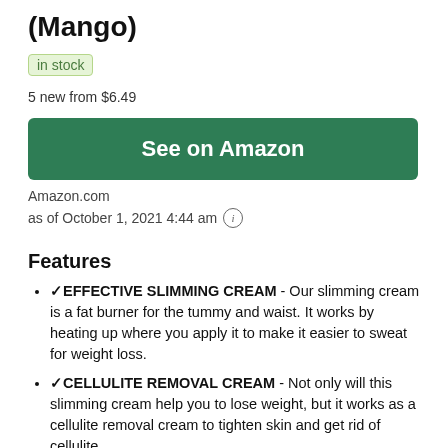(Mango)
in stock
5 new from $6.49
See on Amazon
Amazon.com
as of October 1, 2021 4:44 am
Features
✓EFFECTIVE SLIMMING CREAM - Our slimming cream is a fat burner for the tummy and waist. It works by heating up where you apply it to make it easier to sweat for weight loss.
✓CELLULITE REMOVAL CREAM - Not only will this slimming cream help you to lose weight, but it works as a cellulite removal cream to tighten skin and get rid of cellulite.